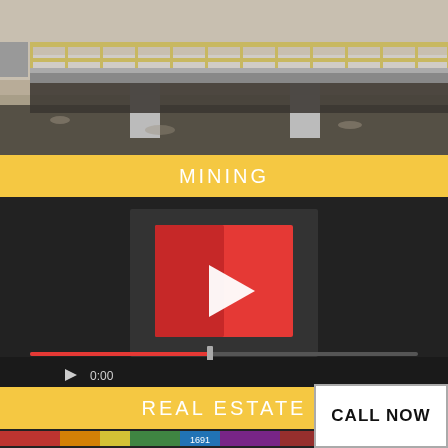[Figure (photo): Photograph of a concrete and steel bridge over a dry desert wash, seen from an angle showing the railing and support columns with rocky/sandy ground below.]
MINING
[Figure (screenshot): Embedded video player (YouTube-style) showing a red play button on a dark background, with a progress bar at 0:00, mute, fullscreen, and more options icons at the bottom.]
REAL ESTATE
CALL NOW
[Figure (photo): Partial bottom strip showing what appears to be a thermal or colorful image, partially visible.]